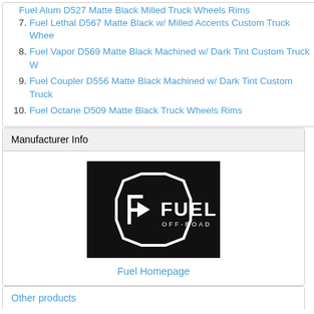6. Fuel Alum D527 Matte Black Milled Truck Wheels Rims (partial, clipped at top)
7. Fuel Lethal D567 Matte Black w/ Milled Accents Custom Truck Whee
8. Fuel Vapor D569 Matte Black Machined w/ Dark Tint Custom Truck W
9. Fuel Coupler D556 Matte Black Machined w/ Dark Tint Custom Truck
10. Fuel Octane D509 Matte Black Truck Wheels Rims
Manufacturer Info
[Figure (logo): Fuel Off-Road logo — white octagon with stylized F and FUEL OFF-ROAD text on black background]
Fuel Homepage
Other products